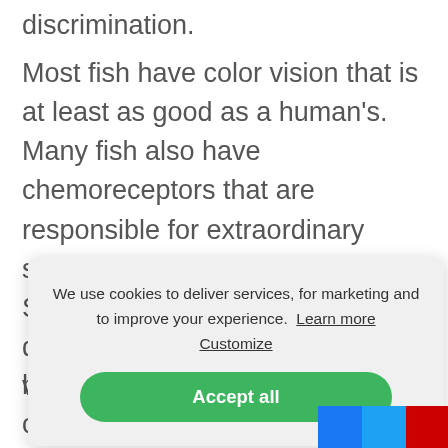discrimination.
Most fish have color vision that is at least as good as a human's. Many fish also have chemoreceptors that are responsible for extraordinary senses of taste and smell. Sensitive receptors allow fish to detect gentle currents and vibrations, and to sense
[Figure (screenshot): Cookie consent overlay with text 'We use cookies to deliver services, for marketing and to improve your experience. Learn more Customize' and a green 'Accept all' button]
hatched babies are called larvae and